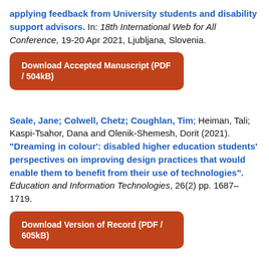applying feedback from University students and disability support advisors. In: 18th International Web for All Conference, 19-20 Apr 2021, Ljubljana, Slovenia.
Download Accepted Manuscript (PDF / 504kB)
Seale, Jane; Colwell, Chetz; Coughlan, Tim; Heiman, Tali; Kaspi-Tsahor, Dana and Olenik-Shemesh, Dorit (2021). "Dreaming in colour': disabled higher education students' perspectives on improving design practices that would enable them to benefit from their use of technologies". Education and Information Technologies, 26(2) pp. 1687–1719.
Download Version of Record (PDF / 605kB)